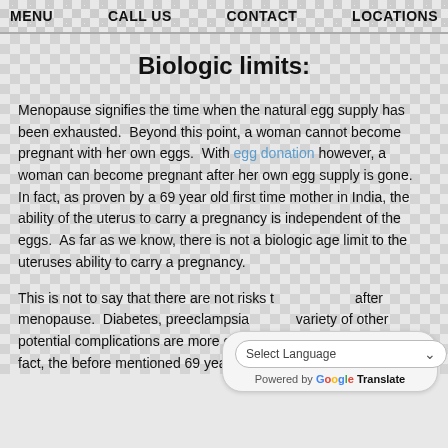MENU   CALL US   CONTACT   LOCATIONS
Biologic limits:
Menopause signifies the time when the natural egg supply has been exhausted.  Beyond this point, a woman cannot become pregnant with her own eggs.  With egg donation however, a woman can become pregnant after her own egg supply is gone.  In fact, as proven by a 69 year old first time mother in India, the ability of the uterus to carry a pregnancy is independent of the eggs.  As far as we know, there is not a biologic age limit to the uteruses ability to carry a pregnancy.
This is not to say that there are not risks to after menopause.  Diabetes, preeclampsia variety of other potential complications are more common in older mothers.  In fact, the before mentioned 69 year old woman almost